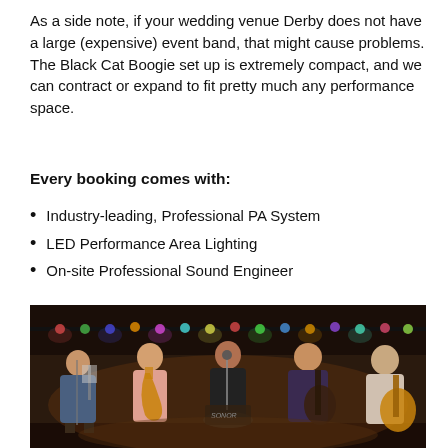As a side note, if your wedding venue Derby does not have a large (expensive) event band, that might cause problems. The Black Cat Boogie set up is extremely compact, and we can contract or expand to fit pretty much any performance space.
Every booking comes with:
Industry-leading, Professional PA System
LED Performance Area Lighting
On-site Professional Sound Engineer
[Figure (photo): A live band performing on stage. Five musicians visible: a bald man singing on the left, a saxophone player in a pink shirt, a female vocalist in black at a microphone in the center, a guitarist in a floral shirt, and a bearded man playing acoustic guitar on the right. Colorful string lights visible at the top of the venue. Drum kit with 'SONOR' branding visible in the background.]